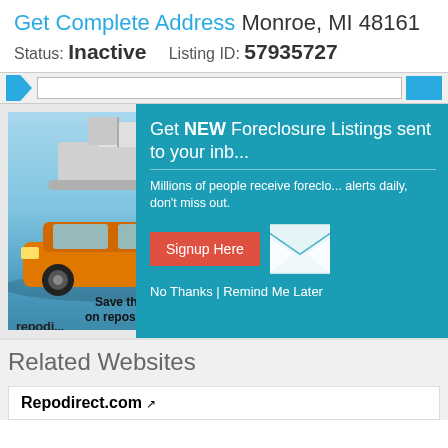Get Complete Address Monroe, MI 48161
Status: Inactive   Listing ID: 57935727
[Figure (screenshot): Navigation bar with blue arrow/logo icon, search input field, and blue button]
[Figure (screenshot): Advertisement showing a boat in background and orange sports car in foreground with text 'Save thousands on repossessed' and 'repodirect.com' branding]
[Figure (screenshot): Popup overlay on teal background: 'Get NEW Foreclosure Listings sent to your inbox'. Text: 'Millions of people receive foreclosure alerts daily, don't miss out.' Red 'Signup Here' button, envelope icon. 'No Thanks | Remind Me Later']
Related Websites
Repodirect.com